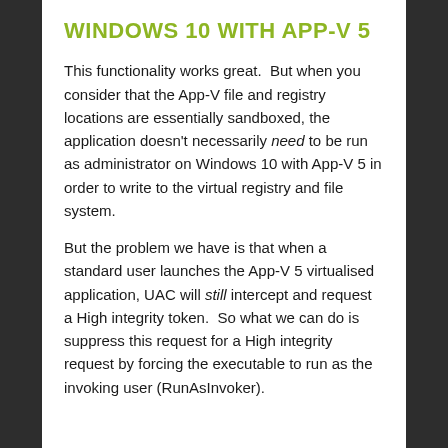WINDOWS 10 WITH APP-V 5
This functionality works great.  But when you consider that the App-V file and registry locations are essentially sandboxed, the application doesn't necessarily need to be run as administrator on Windows 10 with App-V 5 in order to write to the virtual registry and file system.
But the problem we have is that when a standard user launches the App-V 5 virtualised application, UAC will still intercept and request a High integrity token.  So what we can do is suppress this request for a High integrity request by forcing the executable to run as the invoking user (RunAsInvoker).